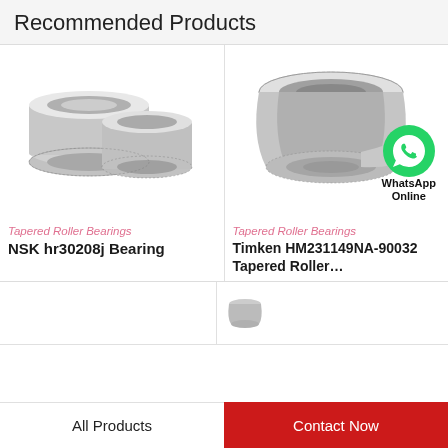Recommended Products
[Figure (photo): Two tapered roller bearing rings photographed on white background — NSK hr30208j Bearing]
Tapered Roller Bearings
NSK hr30208j Bearing
[Figure (photo): Tapered roller bearing with WhatsApp Online badge overlay — Timken HM231149NA-90032 Tapered Roller...]
Tapered Roller Bearings
Timken HM231149NA-90032 Tapered Roller...
All Products
Contact Now